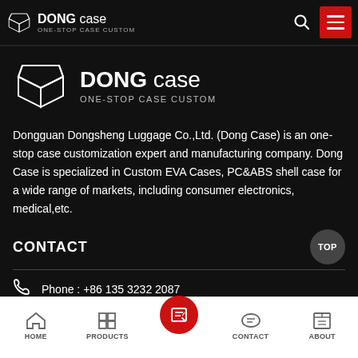DONG Case ONE-STOP CASE CUSTOM
[Figure (logo): Dong Case logo with geometric box icon]
Dongguan Dongsheng Luggage Co.,Ltd. (Dong Case) is an one-stop case customization expert and manufacturing company. Dong Case is specialized in Custom EVA Cases, PC&ABS shell case for a wide range of markets, including consumer electronics, medical,etc.
CONTACT
Phone : +86 135 3232 2087
Whatsapp : +86 135 3232 2087
HOME  PRODUCTS  CONTACT  ABOUT